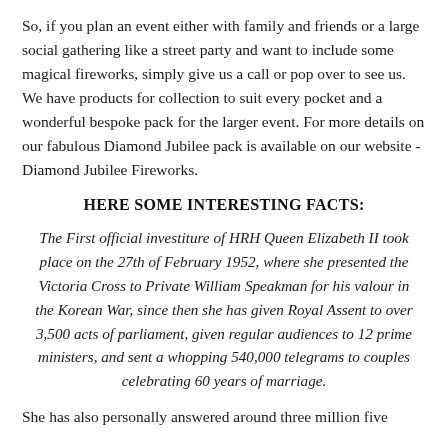So, if you plan an event either with family and friends or a large social gathering like a street party and want to include some magical fireworks, simply give us a call or pop over to see us. We have products for collection to suit every pocket and a wonderful bespoke pack for the larger event. For more details on our fabulous Diamond Jubilee pack is available on our website - Diamond Jubilee Fireworks.
HERE SOME INTERESTING FACTS:
The First official investiture of HRH Queen Elizabeth II took place on the 27th of February 1952, where she presented the Victoria Cross to Private William Speakman for his valour in the Korean War, since then she has given Royal Assent to over 3,500 acts of parliament, given regular audiences to 12 prime ministers, and sent a whopping 540,000 telegrams to couples celebrating 60 years of marriage.
She has also personally answered around three million five